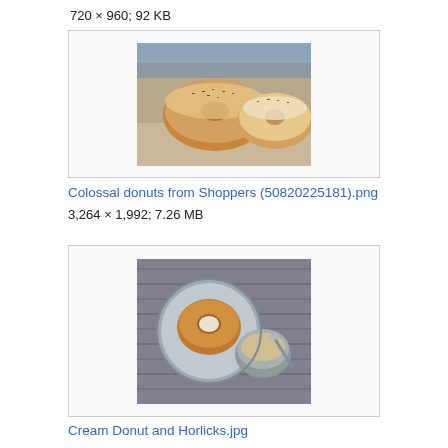720 × 960; 92 KB
[Figure (photo): Photo of colossal donuts with toppings, shown in a light gray bordered image box]
Colossal donuts from Shoppers (50820225181).png
3,264 × 1,992; 7.26 MB
[Figure (photo): Photo of a cream donut and Horlicks drink in a metal cup, on a textured surface]
Cream Donut and Horlicks.jpg